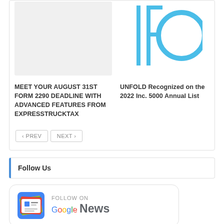[Figure (other): Gray placeholder thumbnail image for article on left column]
MEET YOUR AUGUST 31ST FORM 2290 DEADLINE WITH ADVANCED FEATURES FROM EXPRESSTRUCKTAX
[Figure (logo): UNFOLD logo: light blue vertical bar and circle letters IFO on white background]
UNFOLD Recognized on the 2022 Inc. 5000 Annual List
< PREV   NEXT >
Follow Us
[Figure (logo): Google News follow badge: Google News icon on left, FOLLOW ON text above Google News text on right]